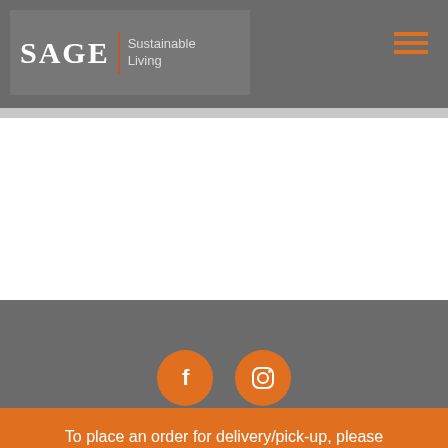[Figure (logo): SAGE Sustainable Living logo in white text with orange vertical divider, on a dark gray header bar with hamburger menu icon in orange on the right]
[Figure (logo): SAGE Sustainable Living logo centered in footer dark gray section]
[Figure (illustration): Two orange circular social media icons: Facebook (f) and Instagram (camera) icons side by side]
To place an order for delivery/pick-up, please connect with our customer care - 9849427575